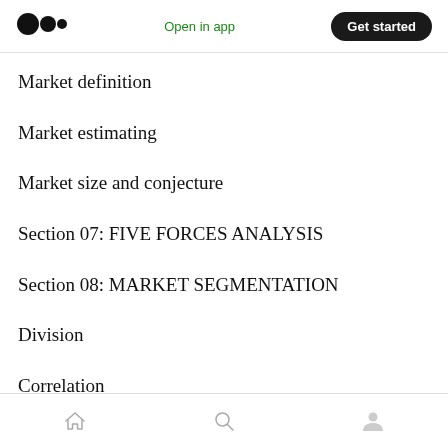Medium logo | Open in app | Get started
Market definition
Market estimating
Market size and conjecture
Section 07: FIVE FORCES ANALYSIS
Section 08: MARKET SEGMENTATION
Division
Correlation
Home | Search | Profile